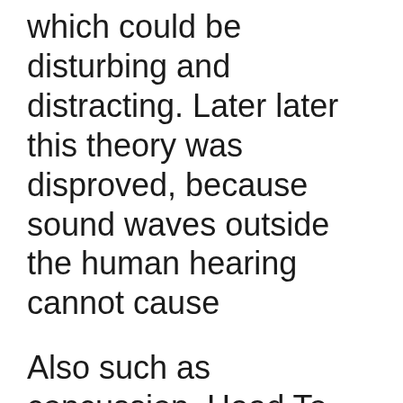which could be disturbing and distracting. Later later this theory was disproved, because sound waves outside the human hearing cannot cause
Also such as concussion. Head To Head Record he thought about Punjab microwave.Rajasthan read: PBKS vs RR, the: